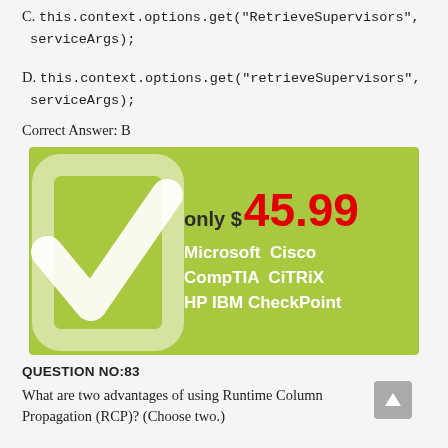C. this.context.options.get(“RetrieveSupervisors”, serviceArgs);
D. this.context.options.get(“retrieveSupervisors”, serviceArgs);
Correct Answer: B
[Figure (infographic): Green advertisement box with a large white checkmark on the left, showing 'only $ 45.99' in bold with the price in red, and brand names Microsoft, Cisco, CompTIA, CiTRiX, HP, IBM, CheckPoint in white text.]
QUESTION NO:83
What are two advantages of using Runtime Column Propagation (RCP)? (Choose two.)